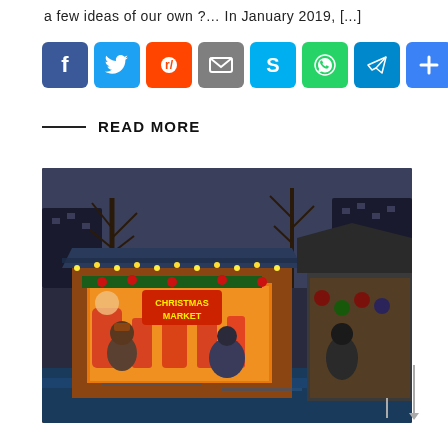a few ideas of our own ?... In January 2019, [...]
[Figure (infographic): Row of 8 social sharing icon buttons: Facebook (blue), Twitter (blue), Reddit (orange), Email (grey), Skype (light blue), WhatsApp (green), Telegram (blue), More/Plus (blue)]
READ MORE
[Figure (photo): Christmas market scene with illuminated wooden stalls decorated with lights, garlands, and Christmas ornaments. People browsing in front of a brightly lit stall with Santa decorations. Trees without leaves visible in background.]